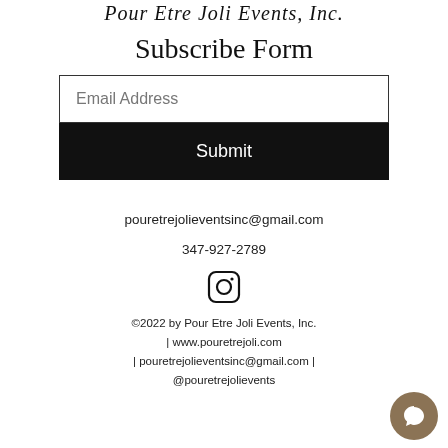Subscribe Form
[Figure (other): Email address input field with placeholder text 'Email Address']
[Figure (other): Black Submit button]
pouretrejolieventsinc@gmail.com
347-927-2789
[Figure (logo): Instagram icon (circle with camera outline)]
©2022 by Pour Etre Joli Events, Inc. | www.pouretrejoli.com | pouretrejolieventsinc@gmail.com | @pouretrejolievents